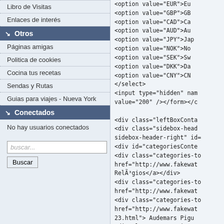Libro de Visitas
Enlaces de interés
Otros
Páginas amigas
Politica de cookies
Cocina tus recetas
Sendas y Rutas
Guias para viajes - Nueva York
Conectados
No hay usuarios conectados
buscar...
Buscar
<option value="EUR">Eu
<option value="GBP">GB
<option value="CAD">Ca
<option value="AUD">Au
<option value="JPY">Jap
<option value="NOK">No
<option value="SEK">Sw
<option value="DKK">Da
<option value="CNY">CN
</select>
<input type="hidden" nam
value="200" /></form></c

<div class="leftBoxConta
<div class="sidebox-head
sidebox-header-right" id=
<div id="categoriesConte
<div class="categories-to
href="http://www.fakewat
RelÃ³gios</a></div>
<div class="categories-to
href="http://www.fakewat
<div class="categories-to
href="http://www.fakewat
23.html"> Audemars Pigu
<div class="categories-to
href="http://www.fakewat
class="category-subs-par
<div class="subcategory"
href="http://www.fakewat
200_515.html"> Blancpai